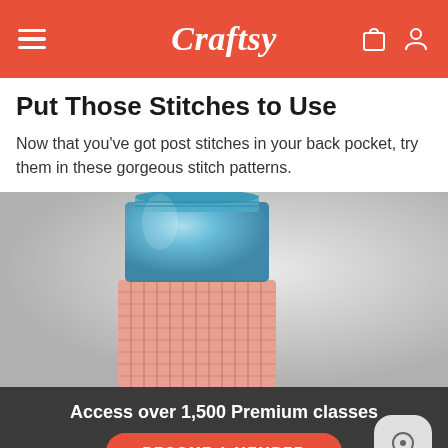Craftsy
Put Those Stitches to Use
Now that you've got post stitches in your back pocket, try them in these gorgeous stitch patterns.
[Figure (photo): A blue glass mason jar with a pink crocheted cozy/sleeve around it, photographed against a light gray background.]
Access over 1,500 Premium classes
BECOME A MEMBER